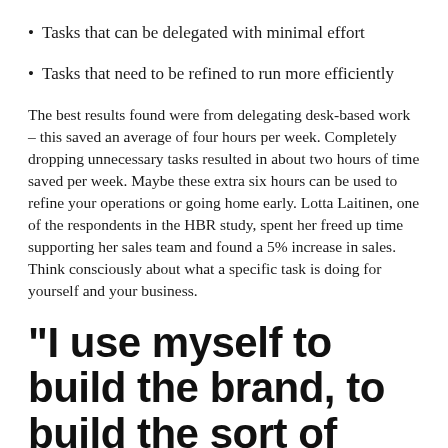Tasks that can be delegated with minimal effort
Tasks that need to be refined to run more efficiently
The best results found were from delegating desk-based work – this saved an average of four hours per week. Completely dropping unnecessary tasks resulted in about two hours of time saved per week. Maybe these extra six hours can be used to refine your operations or going home early. Lotta Laitinen, one of the respondents in the HBR study, spent her freed up time supporting her sales team and found a 5% increase in sales. Think consciously about what a specific task is doing for yourself and your business.
“I use myself to build the brand, to build the sort of